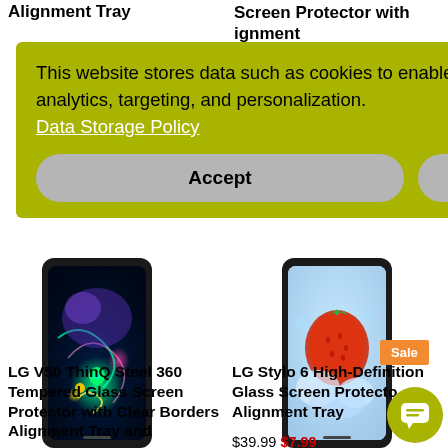Alignment Tray
Screen Protector with
ignment
Pure
to $100
This website stores data such as cookies to enable important site functionality including analytics, targeting, and personalization.
Data Storage Policy
Accept
Deny
[Figure (photo): LG V50 ThinQ smartphone with colorful abstract display screen]
[Figure (photo): LG Stylo 6 smartphone with Sale badge, showing a bright display]
LG V50 ThinQ Steel 360 Tempered Glass Screen Protector with Clear Borders Alignment Tray and
LG Stylo 6 High-Definition Glass Screen Protector Alignment Tray
$39.99  $7.99